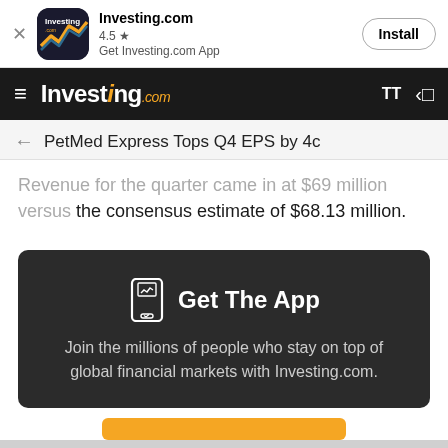[Figure (screenshot): Investing.com app install banner with app icon, rating 4.5 stars, and Install button]
Investing.com — navigation bar with hamburger menu, logo, text size and share icons
PetMed Express Tops Q4 EPS by 4c
Revenue for the quarter came in at $69 million versus the consensus estimate of $68.13 million.
[Figure (infographic): Get The App promotional card with phone icon, headline 'Get The App', subtext 'Join the millions of people who stay on top of global financial markets with Investing.com.' and partial yellow button at bottom]